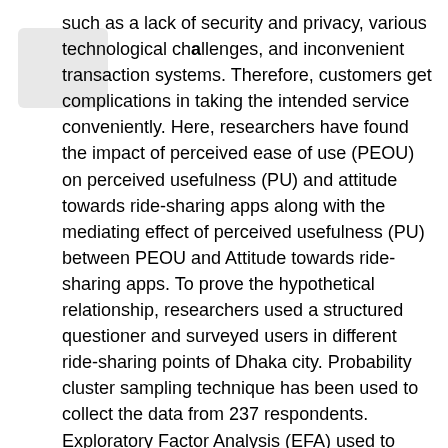such as a lack of security and privacy, various technological challenges, and inconvenient transaction systems. Therefore, customers get complications in taking the intended service conveniently. Here, researchers have found the impact of perceived ease of use (PEOU) on perceived usefulness (PU) and attitude towards ride-sharing apps along with the mediating effect of perceived usefulness (PU) between PEOU and Attitude towards ride-sharing apps. To prove the hypothetical relationship, researchers used a structured questioner and surveyed users in different ride-sharing points of Dhaka city. Probability cluster sampling technique has been used to collect the data from 237 respondents. Exploratory Factor Analysis (EFA) used to determine the reliability and validity of the instrument. Besides that, Confirmatory Factor Analysis (CFA) was also conducted using the Exploratory Factor Analysis results, followed by a measurement model. Finally, multivariate analysis using structural equations modelling (SEM) in the AMOS program to assess the suggested conceptual model's overall fit and the validity of the hypothesized relationship. Ride-sharing service